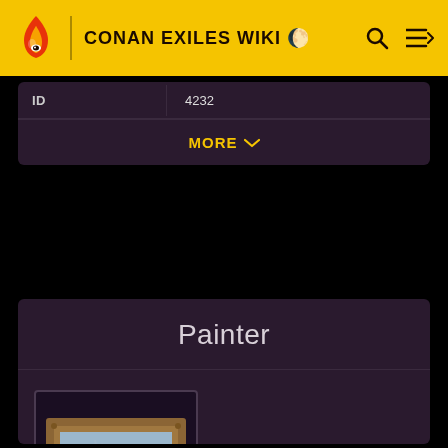CONAN EXILES WIKI
| ID | 4232 |
| --- | --- |
MORE ∨
Painter
[Figure (illustration): Painting in a wooden frame showing a misty castle landscape in blue-grey tones]